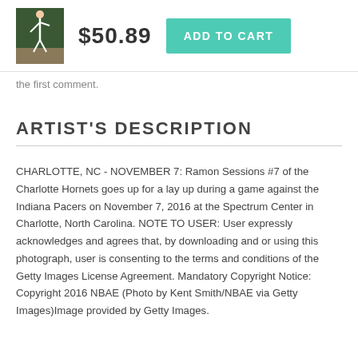[Figure (photo): Small thumbnail of a basketball player going up for a lay up, dark green background]
$50.89
ADD TO CART
the first comment.
ARTIST'S DESCRIPTION
CHARLOTTE, NC - NOVEMBER 7: Ramon Sessions #7 of the Charlotte Hornets goes up for a lay up during a game against the Indiana Pacers on November 7, 2016 at the Spectrum Center in Charlotte, North Carolina. NOTE TO USER: User expressly acknowledges and agrees that, by downloading and or using this photograph, user is consenting to the terms and conditions of the Getty Images License Agreement. Mandatory Copyright Notice: Copyright 2016 NBAE (Photo by Kent Smith/NBAE via Getty Images)Image provided by Getty Images.